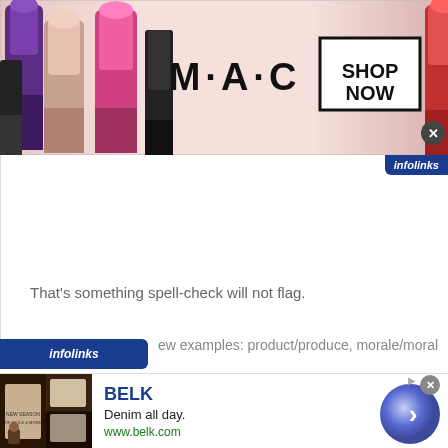[Figure (photo): MAC Cosmetics advertisement banner with lipsticks on left and right sides, MAC logo in center, and SHOP NOW button in a box]
infolinks
That’s something spell-check will not flag.
infolinks
ew examples: product/produce, morale/moral
[Figure (infographic): BELK advertisement: Denim all day. www.belk.com with book/fashion images on left and navigation arrow on right]